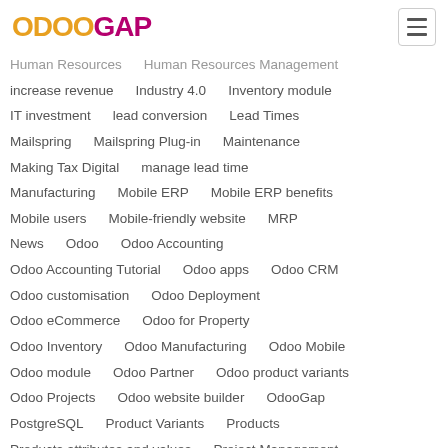OdooGAP
Human Resources   Human Resources Management
increase revenue   Industry 4.0   Inventory module
IT investment   lead conversion   Lead Times
Mailspring   Mailspring Plug-in   Maintenance
Making Tax Digital   manage lead time
Manufacturing   Mobile ERP   Mobile ERP benefits
Mobile users   Mobile-friendly website   MRP
News   Odoo   Odoo Accounting
Odoo Accounting Tutorial   Odoo apps   Odoo CRM
Odoo customisation   Odoo Deployment
Odoo eCommerce   Odoo for Property
Odoo Inventory   Odoo Manufacturing   Odoo Mobile
Odoo module   Odoo Partner   Odoo product variants
Odoo Projects   Odoo website builder   OdooGap
PostgreSQL   Product Variants   Products
Products attributes and values   Project Management
Property management   Property management software
Property software   Purchase   Python